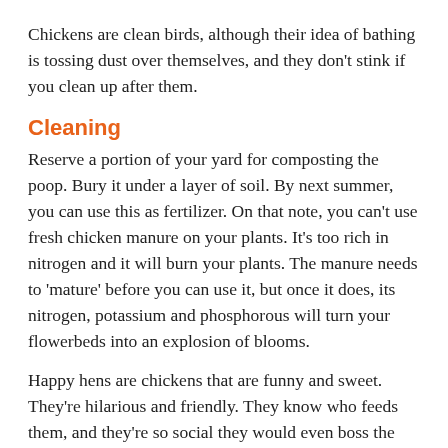Chickens are clean birds, although their idea of bathing is tossing dust over themselves, and they don't stink if you clean up after them.
Cleaning
Reserve a portion of your yard for composting the poop. Bury it under a layer of soil. By next summer, you can use this as fertilizer. On that note, you can't use fresh chicken manure on your plants. It's too rich in nitrogen and it will burn your plants. The manure needs to 'mature' before you can use it, but once it does, its nitrogen, potassium and phosphorous will turn your flowerbeds into an explosion of blooms.
Happy hens are chickens that are funny and sweet. They're hilarious and friendly. They know who feeds them, and they're so social they would even boss the dog or your husband. Speaking of being social, it's not the best idea to try to have only one chicken. You should have at least three chickens—the ideal minimum number is four, and they need a